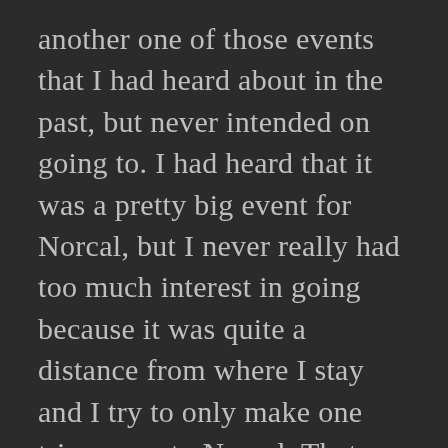another one of those events that I had heard about in the past, but never intended on going to. I had heard that it was a pretty big event for Norcal, but I never really had too much interest in going because it was quite a distance from where I stay and I try to only make one trip a year to Norcal. That one trip of course, is the annual Wekfest SF event. You'll find me there every year with a booth and doing coverage and what not but it usually takes a lot for me to make the trip up there because I have a lot of stuff to prepare before I can leave Socal. The idea didn't even pop into my head to attend the Blox event